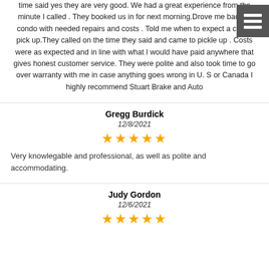time said yes they are very good. We had a great experience from the minute I called . They booked us in for next morning.Drove me back to condo with needed repairs and costs . Told me when to expect a call to pick up.They called on the time they said and came to pickle up . Costs were as expected and in line with what I would have paid anywhere that gives honest customer service. They were polite and also took time to go over warranty with me in case anything goes wrong in U. S or Canada I highly recommend Stuart Brake and Auto
Gregg Burdick
12/8/2021
[Figure (other): 5 gold stars rating]
Very knowlegable and professional, as well as polite and accommodating.
Judy Gordon
12/6/2021
[Figure (other): 5 gold stars rating (partially visible)]